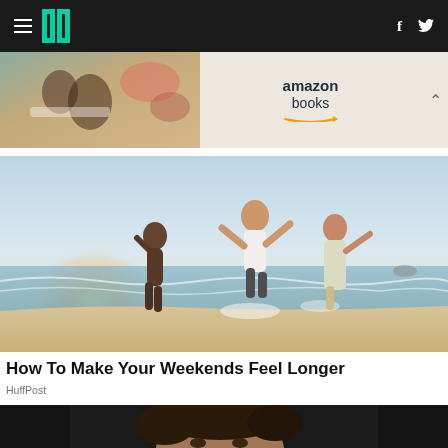HuffPost navigation bar with hamburger menu, logo, Facebook and Twitter icons
[Figure (photo): Amazon Books advertisement banner showing people reading with 'amazon books' text and smile logo]
[Figure (photo): Three women dancing and playing on a beach at sunset, waves in background]
How To Make Your Weekends Feel Longer
HuffPost
[Figure (photo): Close-up photo of a man with dark curly hair against dark background, partially cropped at bottom of page]